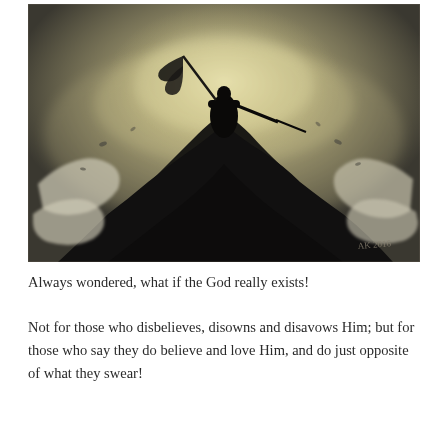[Figure (illustration): Dark fantasy digital painting of a lone warrior silhouette standing atop a large rocky outcrop or hill, holding a sword in one hand and a tattered flag/banner in the other, viewed from below against a misty yellowish-grey background. Birds or debris float in the air around the figure.]
Always wondered, what if the God really exists!
Not for those who disbelieves, disowns and disavows Him; but for those who say they do believe and love Him, and do just opposite of what they swear!